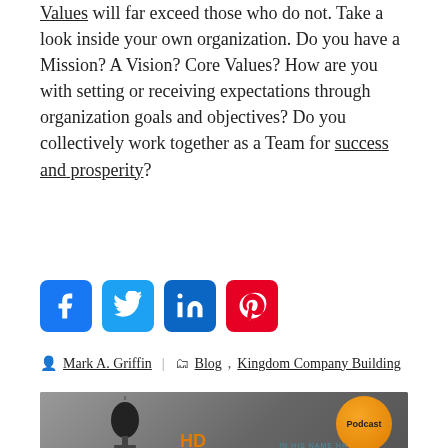Values will far exceed those who do not. Take a look inside your own organization. Do you have a Mission? A Vision? Core Values? How are you with setting or receiving expectations through organization goals and objectives? Do you collectively work together as a Team for success and prosperity?
[Figure (other): Social sharing icons: Facebook (blue), Twitter (light blue), LinkedIn (dark blue), Pinterest (red)]
Mark A. Griffin | Blog, Kingdom Company Building
[Figure (photo): Podcast thumbnail image showing a microphone in black and white with an orange 'Podcast' badge circle, 'In His Name' branding, and 'HD' text at the bottom]